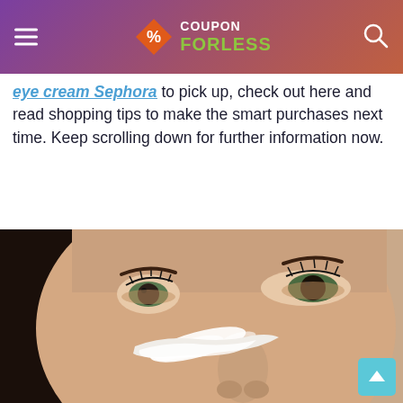CouponForLess
eye cream Sephora to pick up, check out here and read shopping tips to make the smart purchases next time. Keep scrolling down for further information now.
[Figure (photo): Close-up photo of a woman's face with a smear of white eye cream applied below her eye, looking upward.]